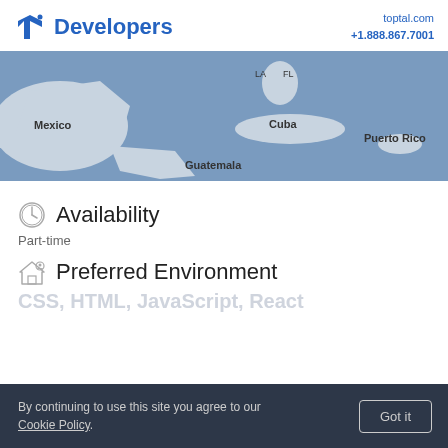Developers | toptal.com +1.888.867.7001
[Figure (map): Map showing Caribbean region with Mexico, Cuba, Guatemala, Puerto Rico, LA, FL labeled]
Availability
Part-time
Preferred Environment
CSS, HTML, JavaScript, React
By continuing to use this site you agree to our Cookie Policy. Got it